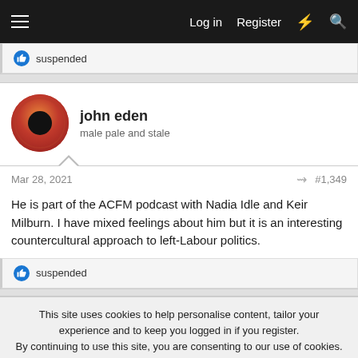Log in   Register
suspended
john eden
male pale and stale
Mar 28, 2021   #1,349
He is part of the ACFM podcast with Nadia Idle and Keir Milburn. I have mixed feelings about him but it is an interesting countercultural approach to left-Labour politics.
suspended
This site uses cookies to help personalise content, tailor your experience and to keep you logged in if you register.
By continuing to use this site, you are consenting to our use of cookies.